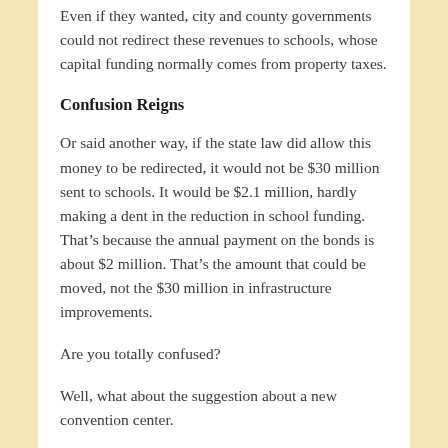Even if they wanted, city and county governments could not redirect these revenues to schools, whose capital funding normally comes from property taxes.
Confusion Reigns
Or said another way, if the state law did allow this money to be redirected, it would not be $30 million sent to schools. It would be $2.1 million, hardly making a dent in the reduction in school funding. That’s because the annual payment on the bonds is about $2 million. That’s the amount that could be moved, not the $30 million in infrastructure improvements.
Are you totally confused?
Well, what about the suggestion about a new convention center.
It’s estimated to cost at least $500 million, and it could